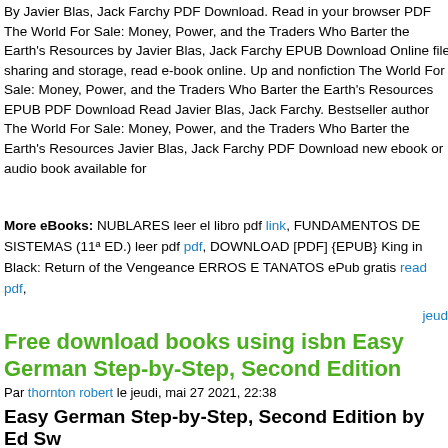By Javier Blas, Jack Farchy PDF Download. Read in your browser PDF The World For Sale: Money, Power, and the Traders Who Barter the Earth's Resources by Javier Blas, Jack Farchy EPUB Download Online file sharing and storage, read e-book online. Up and nonfiction The World For Sale: Money, Power, and the Traders Who Barter the Resources EPUB PDF Download Read Javier Blas, Jack Farchy. Bestseller author The World For Sale: Money, Power, and the Traders Who Barter the Earth's Resources Javier Blas, Jack Farchy PDF Download new ebook or audio book available for
More eBooks: NUBLARES leer el libro pdf link, FUNDAMENTOS DE SISTEMAS (11ª ED.) leer pdf pdf, DOWNLOAD [PDF] {EPUB} King in Black: Return of the Vengeance ERROS E TANATOS ePub gratis read pdf,
jeud
Free download books using isbn Easy German Step-by-Step, Second Edition
Par thornton robert le jeudi, mai 27 2021, 22:38
Easy German Step-by-Step, Second Edition by Ed Sw
[Figure (illustration): Book cover for Easy German Step-by-Step, Second Edition showing green header bar with McGraw-Hill logo and tagline 'The Most Trusted Name in Education', and book title 'Easy German' in italic serif font below]